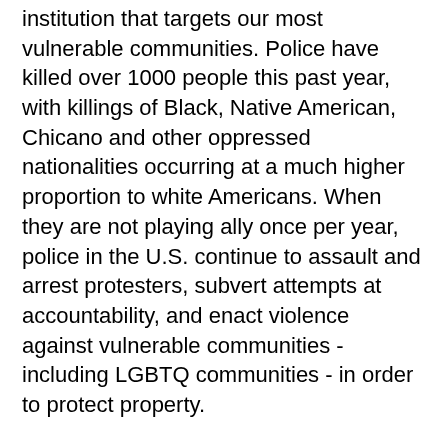institution that targets our most vulnerable communities. Police have killed over 1000 people this past year, with killings of Black, Native American, Chicano and other oppressed nationalities occurring at a much higher proportion to white Americans. When they are not playing ally once per year, police in the U.S. continue to assault and arrest protesters, subvert attempts at accountability, and enact violence against vulnerable communities - including LGBTQ communities - in order to protect property.
In one of the first ever publicized police attacks on the LGBTQ community, members of the newly founded Society of Human Rights, a gay rights organization, were attacked and arrested without a warrant on claims of potential obscenity in 1924. The group disbanded shortly after.
More well known, however, is the historic Black- and trans-led rebellion against police terror that took place at